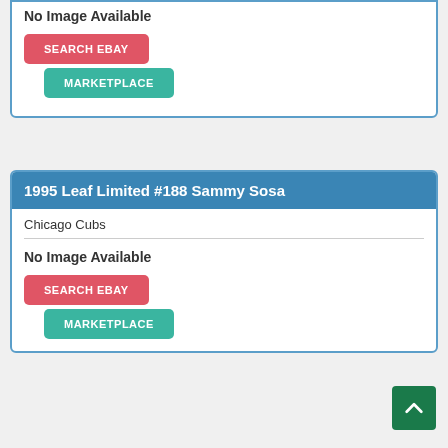No Image Available
[Figure (screenshot): SEARCH EBAY button (red) and MARKETPLACE button (teal)]
1995 Leaf Limited #188 Sammy Sosa
Chicago Cubs
No Image Available
[Figure (screenshot): SEARCH EBAY button (red) and MARKETPLACE button (teal)]